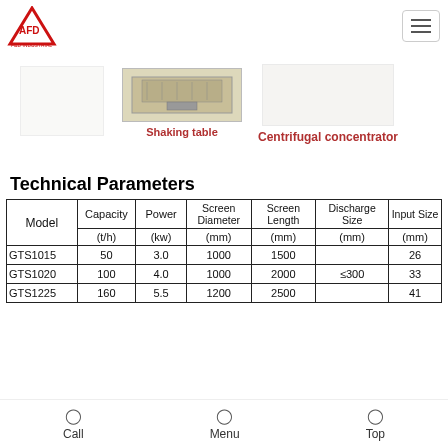[Figure (logo): AFD F&D Industrial logo — red triangle with AFD text]
[Figure (photo): Shaking table product image]
Shaking table
[Figure (photo): Centrifugal concentrator product image]
Centrifugal concentrator
Technical Parameters
| Model | Capacity (t/h) | Power (kw) | Screen Diameter (mm) | Screen Length (mm) | Discharge Size (mm) | Input Size (mm) |
| --- | --- | --- | --- | --- | --- | --- |
| GTS1015 | 50 | 3.0 | 1000 | 1500 |  | 26 |
| GTS1020 | 100 | 4.0 | 1000 | 2000 | ≤300 | 33 |
| GTS1225 | 160 | 5.5 | 1200 | 2500 |  | 41 |
Call   Menu   Top